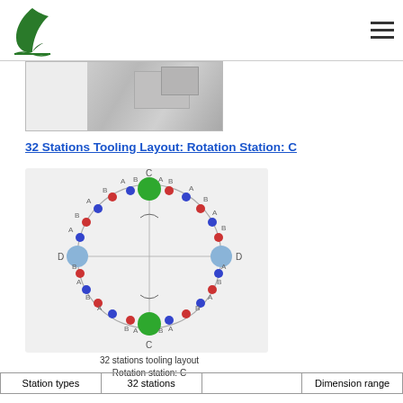Logo and navigation header
[Figure (photo): Partial photo of machinery/tooling equipment, grayscale]
32 Stations Tooling Layout: Rotation Station: C
[Figure (engineering-diagram): 32 stations tooling layout diagram showing a circular arrangement of colored dots (red, blue, green) labeled A, B, C, D around a circle. Two large green circles at top (C) and bottom (C), two large blue circles at left and right (D). Small red and blue dots alternate around the ring labeled A and B. Caption reads: 32 stations tooling layout, Rotation station: C]
| Station types | 32 stations |  | Dimension range |
| --- | --- | --- | --- |